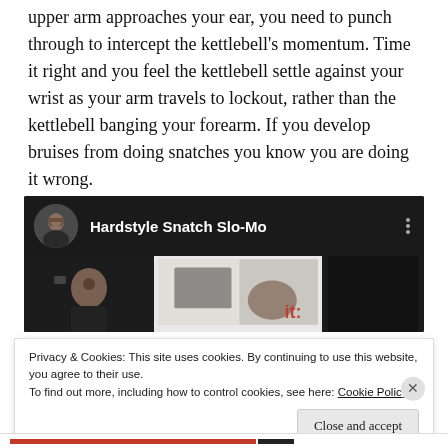upper arm approaches your ear, you need to punch through to intercept the kettlebell's momentum. Time it right and you feel the kettlebell settle against your wrist as your arm travels to lockout, rather than the kettlebell banging your forearm. If you develop bruises from doing snatches you know you are doing it wrong.
[Figure (screenshot): Embedded video thumbnail showing 'Hardstyle Snatch Slo-Mo' with a bearded man avatar on the left, video title text in white on dark background, three-dot menu icon, and video content showing a person performing a kettlebell snatch movement.]
Privacy & Cookies: This site uses cookies. By continuing to use this website, you agree to their use.
To find out more, including how to control cookies, see here: Cookie Policy